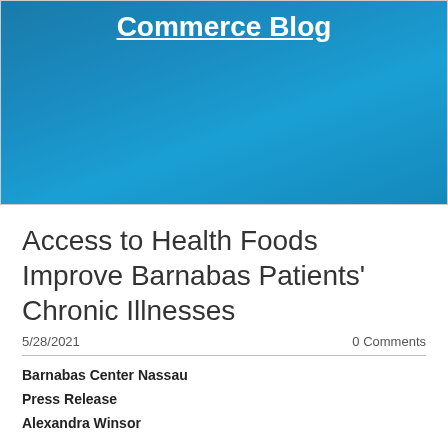Commerce Blog
Access to Health Foods Improve Barnabas Patients' Chronic Illnesses
5/28/2021    0 Comments
Barnabas Center Nassau
Press Release
Alexandra Winsor